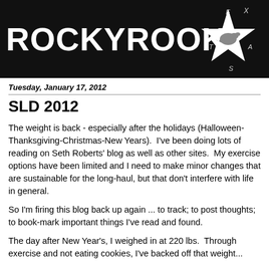[Figure (logo): Rocky Rook Texas blog header with white text 'ROCKYROOK' on black background and a white star with scattered letters E, X, T, A, S around it, with a small bird graphic inside the star]
Tuesday, January 17, 2012
SLD 2012
The weight is back - especially after the holidays (Halloween-Thanksgiving-Christmas-New Years).  I've been doing lots of reading on Seth Roberts' blog as well as other sites.  My exercise options have been limited and I need to make minor changes that are sustainable for the long-haul, but that don't interfere with life in general.
So I'm firing this blog back up again ... to track; to post thoughts; to book-mark important things I've read and found.
The day after New Year's, I weighed in at 220 lbs.  Through exercise and not eating cookies, I've backed off that weight...